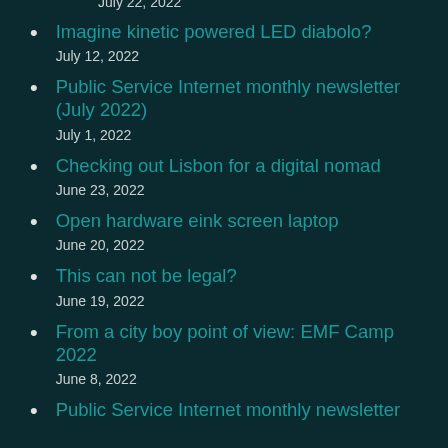July 22, 2022
Imagine kinetic powered LED diabolo?
July 12, 2022
Public Service Internet monthly newsletter (July 2022)
July 1, 2022
Checking out Lisbon for a digital nomad
June 23, 2022
Open hardware eink screen laptop
June 20, 2022
This can not be legal?
June 19, 2022
From a city boy point of view: EMF Camp 2022
June 8, 2022
Public Service Internet monthly newsletter